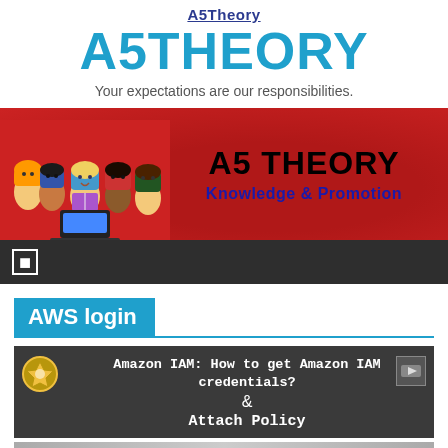A5Theory
A5THEORY
Your expectations are our responsibilities.
[Figure (illustration): A5 THEORY banner with cartoon children reading and studying on red textured background. Text reads 'A5 THEORY' and 'Knowledge & Promotion']
AWS login
[Figure (screenshot): Article card with dark background showing 'Amazon IAM: How to get Amazon IAM credentials? & Attach Policy' with gear/settings icon on the left]